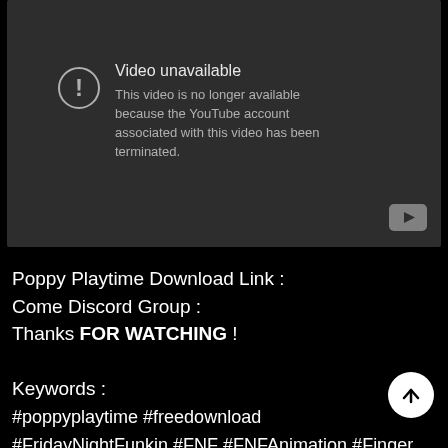[Figure (screenshot): YouTube video unavailable error screen with dark gray background. Shows an exclamation mark icon in a circle, the title 'Video unavailable', and the message 'This video is no longer available because the YouTube account associated with this video has been terminated.' YouTube logo icon in bottom right corner of the video player.]
Poppy Playtime Download Link :
Come Discord Group :
Thanks FOR WATCHING !
Keywords :
#poppyplaytime #freedownload
#FridayNightFunkin #FNF #FNFAnimation #Finger
puppy.playtime.download